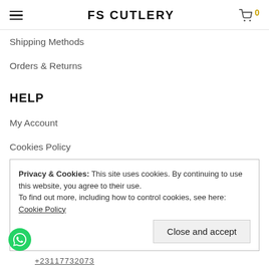FS CUTLERY
Shipping Methods
Orders & Returns
HELP
My Account
Cookies Policy
Terms and Conditions
Privacy Policy
Privacy & Cookies: This site uses cookies. By continuing to use this website, you agree to their use.
To find out more, including how to control cookies, see here: Cookie Policy
Close and accept